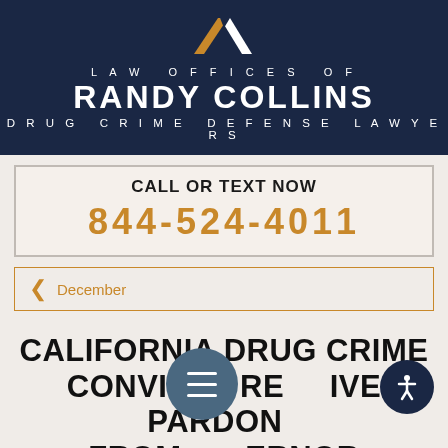[Figure (logo): Law Offices of Randy Collins logo — geometric chevron/arrow shape in gold and white on dark navy background, with firm name and subtitle]
LAW OFFICES OF RANDY COLLINS DRUG CRIME DEFENSE LAWYERS
CALL OR TEXT NOW 844-524-4011
December
CALIFORNIA DRUG CRIME CONVICTS RECEIVE PARDONS FROM GOVERNOR